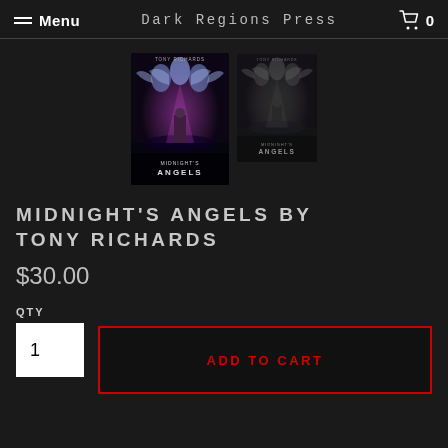Menu  Dark Regions Press  0
[Figure (photo): Two book covers for 'Midnight's Angels' by Tony Richards. Left cover is larger and in color showing angelic figures and a crowd. Right cover is slightly smaller and desaturated/faded version of the same image.]
MIDNIGHT'S ANGELS BY TONY RICHARDS
$30.00
QTY
1
ADD TO CART